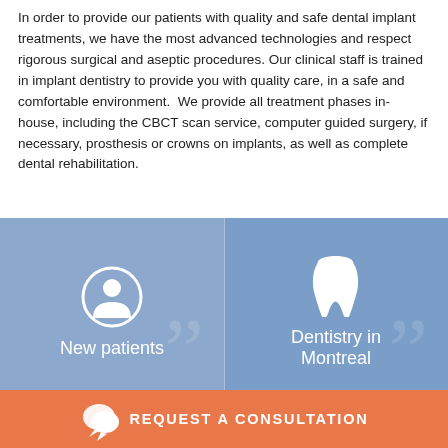In order to provide our patients with quality and safe dental implant treatments, we have the most advanced technologies and respect rigorous surgical and aseptic procedures. Our clinical staff is trained in implant dentistry to provide you with quality care, in a safe and comfortable environment. We provide all treatment phases in-house, including the CBCT scan service, computer guided surgery, if necessary, prosthesis or crowns on implants, as well as complete dental rehabilitation.
[Figure (infographic): Two-by-two grid of blue tiles. Top-left tile shows a person/user icon with label 'New patients'. Top-right tile shows a tooth icon with label 'Dentistry in Montreal'. Bottom row shows partial tiles with icons (tooth and person). An orange bar at bottom reads 'REQUEST A CONSULTATION' with a speech bubble icon.]